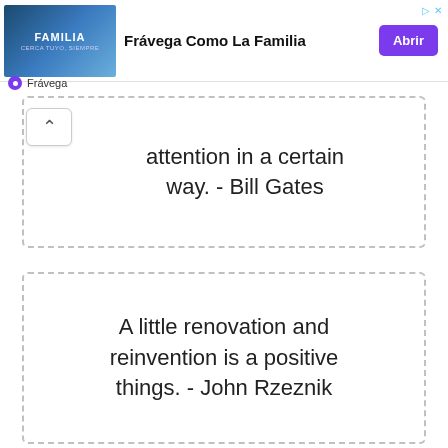[Figure (other): Advertisement banner for Frávega Como La Familia with a photo of people playing sport, headline text, and a purple 'Abrir' button]
attention in a certain way. - Bill Gates
A little renovation and reinvention is a positive things. - John Rzeznik